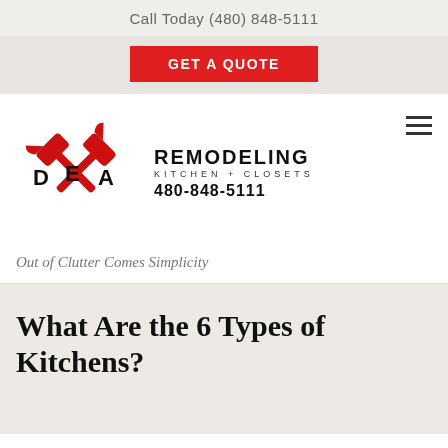Call Today (480) 848-5111
GET A QUOTE
[Figure (logo): DEA Remodeling logo with two crossed hammers in red, letters D, E, A overlaid]
REMODELING
KITCHEN + CLOSETS
480-848-5111
Out of Clutter Comes Simplicity
What Are the 6 Types of Kitchens?